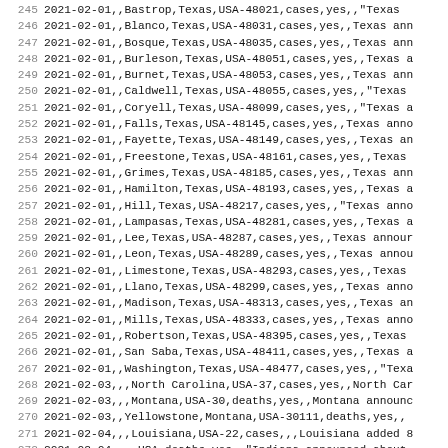| line | data |
| --- | --- |
| 245 | 2021-02-01,,Bastrop,Texas,USA-48021,cases,yes,,"Texas |
| 246 | 2021-02-01,,Blanco,Texas,USA-48031,cases,yes,,Texas ann |
| 247 | 2021-02-01,,Bosque,Texas,USA-48035,cases,yes,,Texas ann |
| 248 | 2021-02-01,,Burleson,Texas,USA-48051,cases,yes,,Texas a |
| 249 | 2021-02-01,,Burnet,Texas,USA-48053,cases,yes,,Texas ann |
| 250 | 2021-02-01,,Caldwell,Texas,USA-48055,cases,yes,,"Texas |
| 251 | 2021-02-01,,Coryell,Texas,USA-48099,cases,yes,,"Texas a |
| 252 | 2021-02-01,,Falls,Texas,USA-48145,cases,yes,,Texas anno |
| 253 | 2021-02-01,,Fayette,Texas,USA-48149,cases,yes,,Texas an |
| 254 | 2021-02-01,,Freestone,Texas,USA-48161,cases,yes,,Texas |
| 255 | 2021-02-01,,Grimes,Texas,USA-48185,cases,yes,,Texas ann |
| 256 | 2021-02-01,,Hamilton,Texas,USA-48193,cases,yes,,Texas a |
| 257 | 2021-02-01,,Hill,Texas,USA-48217,cases,yes,,"Texas anno |
| 258 | 2021-02-01,,Lampasas,Texas,USA-48281,cases,yes,,Texas a |
| 259 | 2021-02-01,,Lee,Texas,USA-48287,cases,yes,,Texas annour |
| 260 | 2021-02-01,,Leon,Texas,USA-48289,cases,yes,,Texas annou |
| 261 | 2021-02-01,,Limestone,Texas,USA-48293,cases,yes,,Texas |
| 262 | 2021-02-01,,Llano,Texas,USA-48299,cases,yes,,Texas anno |
| 263 | 2021-02-01,,Madison,Texas,USA-48313,cases,yes,,Texas an |
| 264 | 2021-02-01,,Mills,Texas,USA-48333,cases,yes,,Texas anno |
| 265 | 2021-02-01,,Robertson,Texas,USA-48395,cases,yes,,Texas |
| 266 | 2021-02-01,,San Saba,Texas,USA-48411,cases,yes,,Texas a |
| 267 | 2021-02-01,,Washington,Texas,USA-48477,cases,yes,,"Texa |
| 268 | 2021-02-03,,,North Carolina,USA-37,cases,yes,,North Car |
| 269 | 2021-02-03,,,Montana,USA-30,deaths,yes,,Montana announc |
| 270 | 2021-02-03,,Yellowstone,Montana,USA-30111,deaths,yes,, |
| 271 | 2021-02-04,,,Louisiana,USA-22,cases,,,Louisiana added 8 |
| 272 | 2021-02-04,,,,USA,deaths,yes,,"Indiana announced about |
| 273 | 2021-02-04,,,Indiana,USA-18,deaths,yes,yes,"Indiana ann |
| 274 | 2021-02-04,,Ionia,Michigan,USA-26067,cases,yes,,Data fr |
| 275 | 2021-02-04,,Chippewa,Michigan,USA-26033,cases,yes,,Data |
| 276 | 2021-02-04,,Jackson,Michigan,USA-26075,cases,yes,,Data |
| 277 | 2021-02-04,,Mackinac,Michigan,USA-26101,cases,yes,,Data |